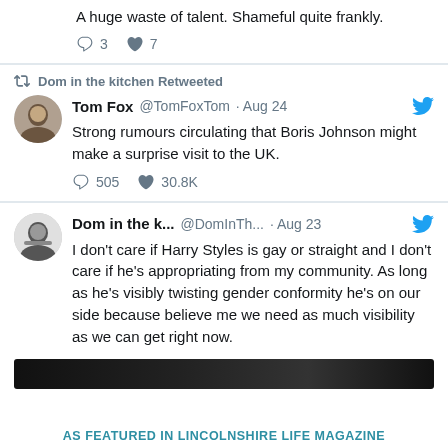A huge waste of talent. Shameful quite frankly.
3  7
Dom in the kitchen Retweeted
Tom Fox @TomFoxTom · Aug 24
Strong rumours circulating that Boris Johnson might make a surprise visit to the UK.
505  30.8K
Dom in the k... @DomInTh... · Aug 23
I don't care if Harry Styles is gay or straight and I don't care if he's appropriating from my community. As long as he's visibly twisting gender conformity he's on our side because believe me we need as much visibility as we can get right now.
[Figure (screenshot): Dark image thumbnail at the bottom of a tweet]
AS FEATURED IN LINCOLNSHIRE LIFE MAGAZINE